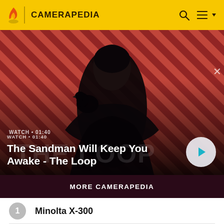CAMERAPEDIA
[Figure (screenshot): Video thumbnail for 'The Sandman Will Keep You Awake - The Loop' showing a dark-clad figure with a raven on a diagonal striped red-black background. Shows WATCH • 01:40 label and a play button.]
The Sandman Will Keep You Awake - The Loop
MORE CAMERAPEDIA
1  Minolta X-300